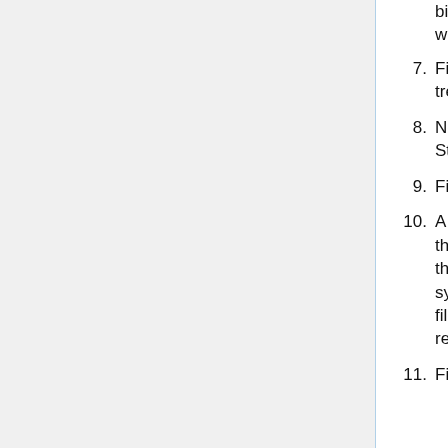billion files, nLevels="4" and maxSize="300" would work well.
7. Files are stored as leaves at the bottom of the tree.
8. No organization into related groups (e.g. by StudyInstanceUID) is provided.
9. Files are indexed by UID (e.g., SOPInstanceUID).
10. A duplicate object (e.g., one whose UID matches the UID of an object already stored) overwrites the stored object in the same place in the storage system (e.g., the same directory and the same filename), and any required jpeg images are recreated, overwriting the previously stored ones.
11. FileObjects, which do not contain